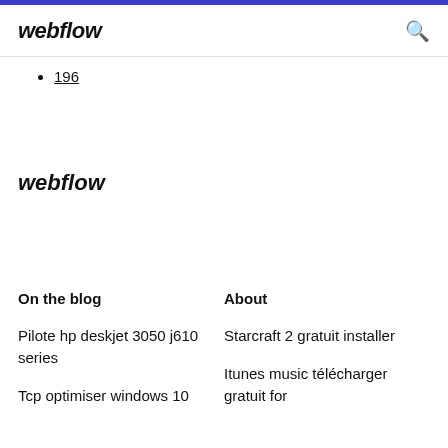webflow
196
webflow
On the blog
About
Pilote hp deskjet 3050 j610 series
Starcraft 2 gratuit installer
Tcp optimiser windows 10
Itunes music télécharger gratuit for